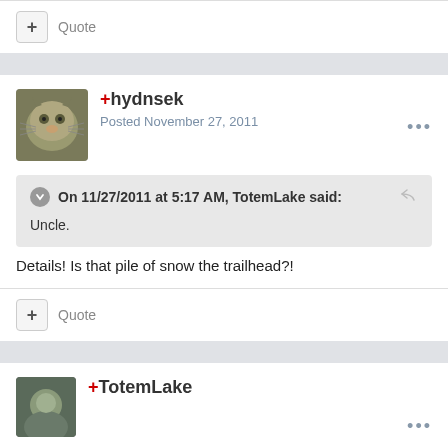+ Quote
+hydnsek
Posted November 27, 2011
On 11/27/2011 at 5:17 AM, TotemLake said:
Uncle.
Details! Is that pile of snow the trailhead?!
+ Quote
+TotemLake